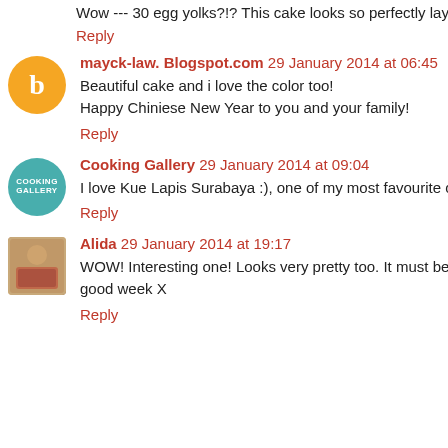Wow --- 30 egg yolks?!? This cake looks so perfectly layere...
Reply
mayck-law. Blogspot.com 29 January 2014 at 06:45
Beautiful cake and i love the color too!
Happy Chiniese New Year to you and your family!
Reply
Cooking Gallery 29 January 2014 at 09:04
I love Kue Lapis Surabaya :), one of my most favourite cake...
Reply
Alida 29 January 2014 at 19:17
WOW! Interesting one! Looks very pretty too. It must be s... good week X
Reply